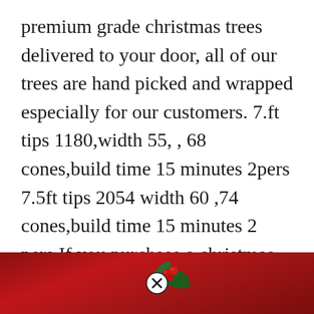premium grade christmas trees delivered to your door, all of our trees are hand picked and wrapped especially for our customers. 7.ft tips 1180,width 55, , 68 cones,build time 15 minutes 2pers 7.5ft tips 2054 width 60 ,74 cones,build time 15 minutes 2 pers If you purchase a christmas tree online, we make a donation per tree to the irish osteoporosis society charity. All prices are inclusive of vat.
[Figure (photo): Red background banner with holly decoration and a circular close/X button overlay in the center]